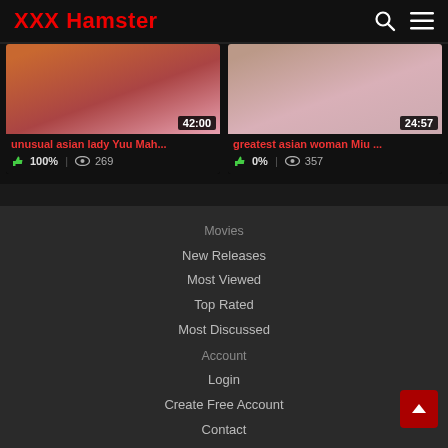XXX Hamster
[Figure (screenshot): Two video thumbnails showing adult content. Left card: 'unusual asian lady Yuu Mah...' 42:00, 100% likes, 269 views. Right card: 'greatest asian woman Miu ...' 24:57, 0% likes, 357 views.]
Movies
New Releases
Most Viewed
Top Rated
Most Discussed
Account
Login
Create Free Account
Contact
© Copyright www.fukvids.com 2022